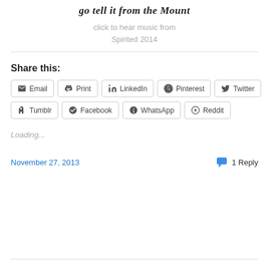go tell it from the Mount
click to hear music from
Spirited 2014
Share this:
Email  Print  LinkedIn  Pinterest  Twitter  Tumblr  Facebook  WhatsApp  Reddit
Loading...
November 27, 2013
1 Reply